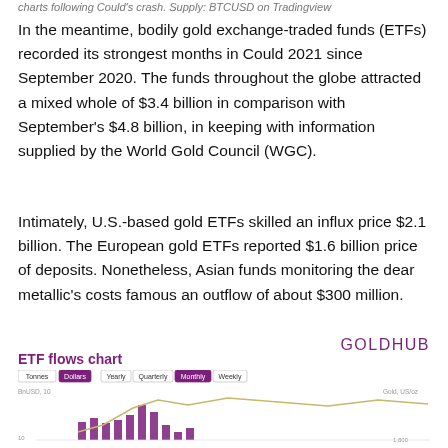charts following Could's crash. Supply: BTCUSD on Tradingview
In the meantime, bodily gold exchange-traded funds (ETFs) recorded its strongest months in Could 2021 since September 2020. The funds throughout the globe attracted a mixed whole of $3.4 billion in comparison with September's $4.8 billion, in keeping with information supplied by the World Gold Council (WGC).
Intimately, U.S.-based gold ETFs skilled an influx price $2.1 billion. The European gold ETFs reported $1.6 billion price of deposits. Nonetheless, Asian funds monitoring the dear metallic's costs famous an outflow of about $300 million.
[Figure (other): GOLDHUB logo]
ETF flows chart
[Figure (bar-chart): ETF flows chart with bar chart showing monthly flows and a gold price line overlay. Controls show Tonnes/Dollars and Yearly/Quarterly/Monthly/Weekly options.]